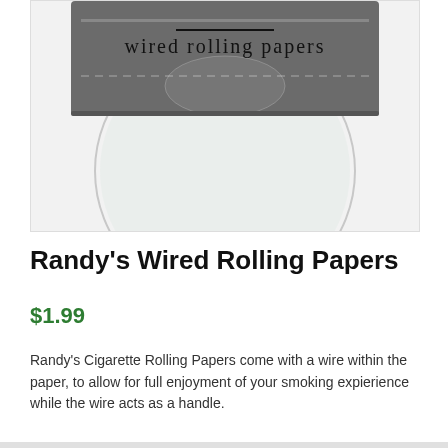[Figure (photo): Product photo of Randy's Wired Rolling Papers package, showing the top portion of a rolling papers booklet with the text 'wired rolling papers' on a dark grey background, with a translucent circular watermark/logo visible below on a light background.]
Randy's Wired Rolling Papers
$1.99
Randy's Cigarette Rolling Papers come with a wire within the paper, to allow for full enjoyment of your smoking expierience while the wire acts as a handle.